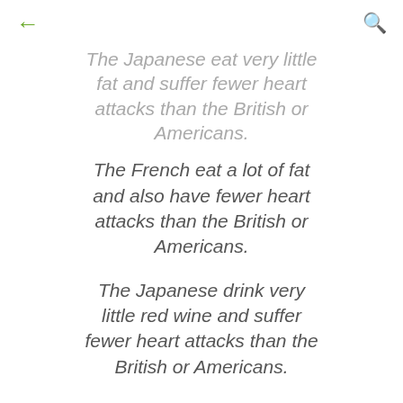← [back] [search]
The Japanese eat very little fat and suffer fewer heart attacks than the British or Americans.
The French eat a lot of fat and also have fewer heart attacks than the British or Americans.
The Japanese drink very little red wine and suffer fewer heart attacks than the British or Americans.